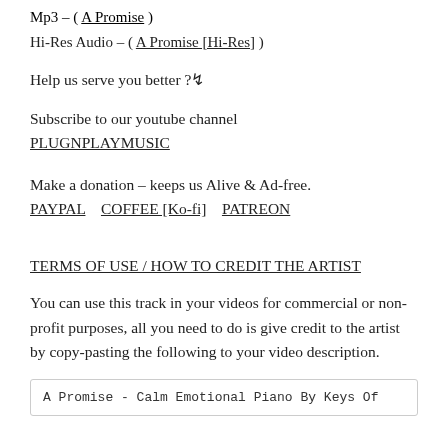Mp3 – ( A Promise )
Hi-Res Audio – ( A Promise [Hi-Res] )
Help us serve you better ?↯
Subscribe to our youtube channel
PLUGNPLAYMUSIC
Make a donation – keeps us Alive & Ad-free.
PAYPAL   COFFEE [Ko-fi]   PATREON
TERMS OF USE / HOW TO CREDIT THE ARTIST
You can use this track in your videos for commercial or non-profit purposes, all you need to do is give credit to the artist by copy-pasting the following to your video description.
A Promise - Calm Emotional Piano By Keys Of